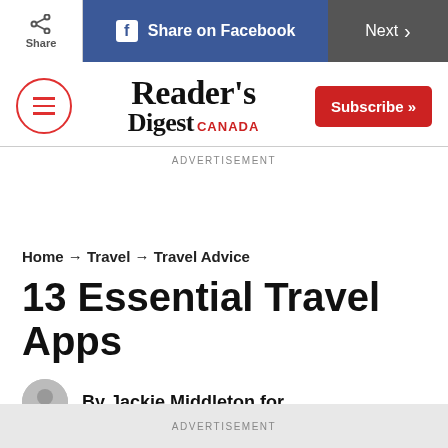Share | Share on Facebook | Next
[Figure (logo): Reader's Digest Canada logo with red menu icon and red Subscribe button]
ADVERTISEMENT
Home → Travel → Travel Advice
13 Essential Travel Apps
By Jackie Middleton for
ADVERTISEMENT